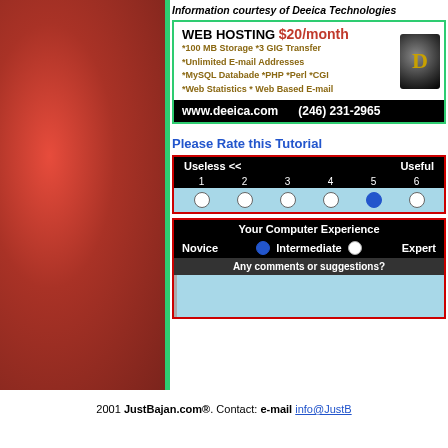[Figure (illustration): Red textured sidebar on the left side of the page]
Information courtesy of Deeica Technologies
[Figure (infographic): Web hosting advertisement banner: WEB HOSTING $20/month, *100 MB Storage *3 GIG Transfer, *Unlimited E-mail Addresses, *MySQL Databade *PHP *Perl *CGI, *Web Statistics * Web Based E-mail, www.deeica.com (246) 231-2965]
Please Rate this Tutorial
[Figure (other): Rating scale from 1 (Useless) to 6 (Useful) with radio buttons, option 5 selected]
[Figure (other): Your Computer Experience: Novice (selected), Intermediate, Expert with radio buttons and comments box]
2001 JustBajan.com®. Contact: e-mail info@JustBajan.com